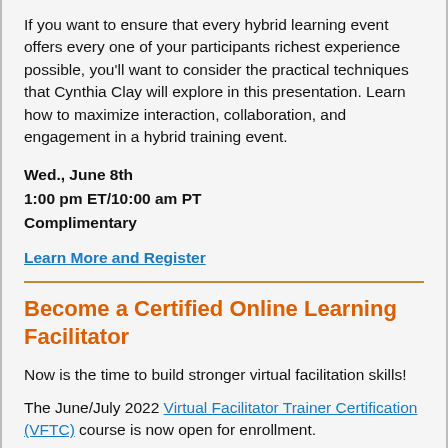If you want to ensure that every hybrid learning event offers every one of your participants richest experience possible, you'll want to consider the practical techniques that Cynthia Clay will explore in this presentation. Learn how to maximize interaction, collaboration, and engagement in a hybrid training event.
Wed., June 8th
1:00 pm ET/10:00 am PT
Complimentary
Learn More and Register
Become a Certified Online Learning Facilitator
Now is the time to build stronger virtual facilitation skills!
The June/July 2022 Virtual Facilitator Trainer Certification (VFTC) course is now open for enrollment.
This popular course has received rave reviews from